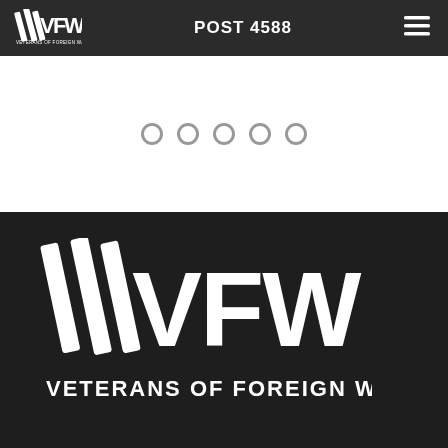VFW VETERANS OF FOREIGN WARS. POST 4588
[Figure (other): Five circular carousel navigation dots in a row, grey/outlined style]
[Figure (logo): VFW Veterans of Foreign Wars logo in white on dark background, large format with text 'VETERANS OF FOREIGN WARS.' beneath the VFW lettermark]